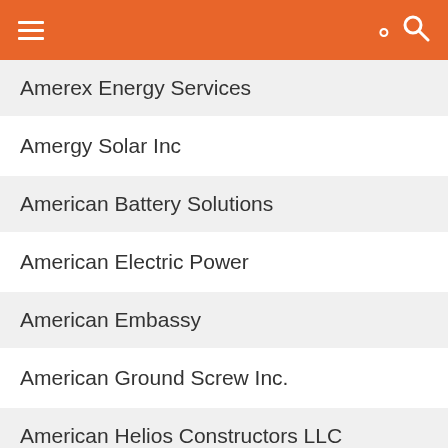Navigation header with hamburger menu and search icon
Amerex Energy Services
Amergy Solar Inc
American Battery Solutions
American Electric Power
American Embassy
American Ground Screw Inc.
American Helios Constructors LLC
American Heritage Excavating
American Municipal Power, Inc